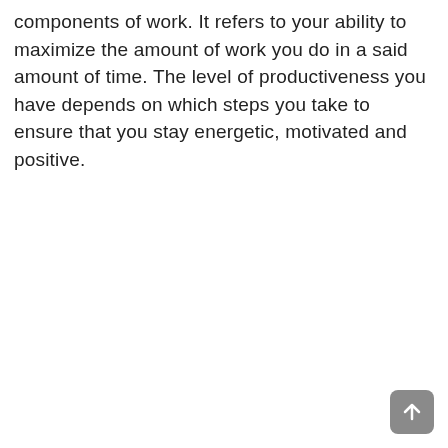components of work. It refers to your ability to maximize the amount of work you do in a said amount of time. The level of productiveness you have depends on which steps you take to ensure that you stay energetic, motivated and positive.
[Figure (other): A grey rounded square button with an upward arrow icon, positioned in the bottom-right corner of the page.]